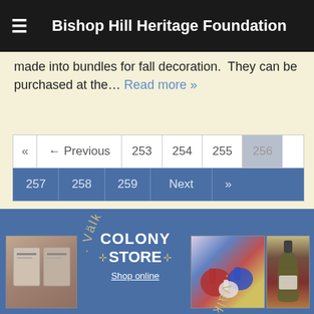Bishop Hill Heritage Foundation
made into bundles for fall decoration.  They can be purchased at the… Read more »
« ← Previous 253 254 255 256 257 258 259 Next »
[Figure (screenshot): Colony Store banner with 'Välkommen' arc text, COLONY STORE logo, Shop online text, and product photos of books, Dala horses, and a wine bottle on a blue background]